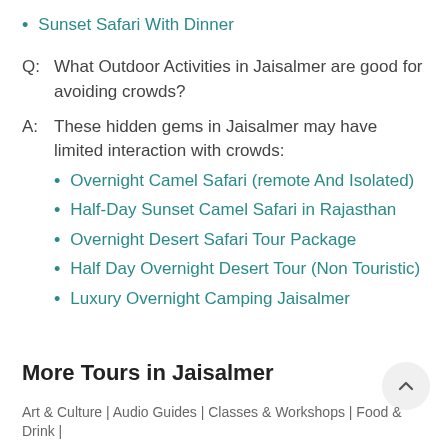Sunset Safari With Dinner
Q:  What Outdoor Activities in Jaisalmer are good for avoiding crowds?
A:  These hidden gems in Jaisalmer may have limited interaction with crowds:
Overnight Camel Safari (remote And Isolated)
Half-Day Sunset Camel Safari in Rajasthan
Overnight Desert Safari Tour Package
Half Day Overnight Desert Tour (Non Touristic)
Luxury Overnight Camping Jaisalmer
More Tours in Jaisalmer
Art & Culture | Audio Guides | Classes & Workshops | Food & Drink |